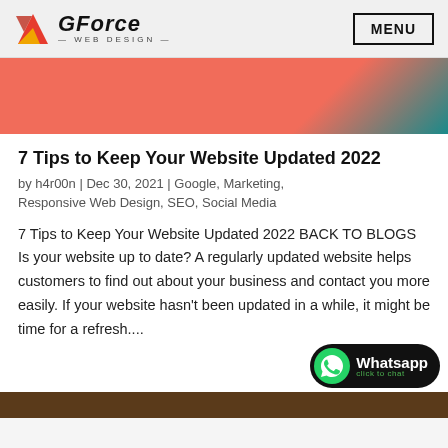GForce Web Design — MENU
[Figure (illustration): Partial hero image with coral/salmon pink gradient blending into teal in the upper right corner]
7 Tips to Keep Your Website Updated 2022
by h4r00n | Dec 30, 2021 | Google, Marketing, Responsive Web Design, SEO, Social Media
7 Tips to Keep Your Website Updated 2022 BACK TO BLOGS Is your website up to date? A regularly updated website helps customers to find out about your business and contact you more easily. If your website hasn't been updated in a while, it might be time for a refresh....
[Figure (illustration): Brown/wood-toned image partially visible at bottom of page]
[Figure (other): WhatsApp click to chat widget with green WhatsApp icon and white/green text on black rounded background]